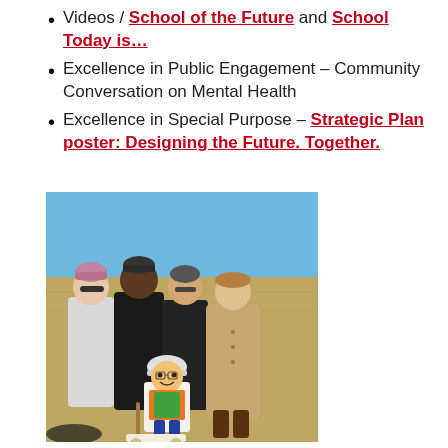Videos / School of the Future and School Today is…
Excellence in Public Engagement – Community Conversation on Mental Health
Excellence in Special Purpose – Strategic Plan poster: Designing the Future. Together.
[Figure (photo): Four women standing outdoors in a field on a cold day, posing together. One holds or stands near a cartoon construction worker cutout figure. Sky is blue, ground is dry grass.]